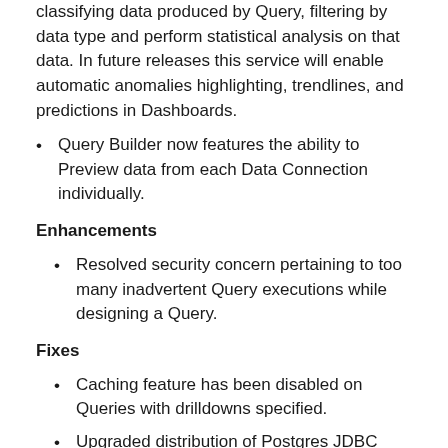classifying data produced by Query, filtering by data type and perform statistical analysis on that data. In future releases this service will enable automatic anomalies highlighting, trendlines, and predictions in Dashboards.
Query Builder now features the ability to Preview data from each Data Connection individually.
Enhancements
Resolved security concern pertaining to too many inadvertent Query executions while designing a Query.
Fixes
Caching feature has been disabled on Queries with drilldowns specified.
Upgraded distribution of Postgres JDBC driver because of security vulnerabilities.
Resolved security concern pertaining to malicious SQL execution.
Defect fixed that prevented currency symbols in drilldown Queries.